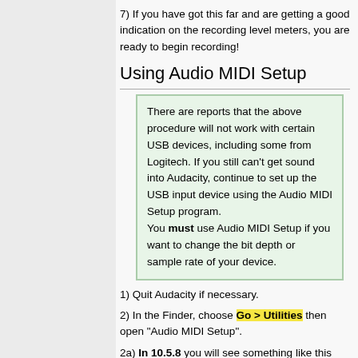7) If you have got this far and are getting a good indication on the recording level meters, you are ready to begin recording!
Using Audio MIDI Setup
There are reports that the above procedure will not work with certain USB devices, including some from Logitech. If you still can't get sound into Audacity, continue to set up the USB input device using the Audio MIDI Setup program. You must use Audio MIDI Setup if you want to change the bit depth or sample rate of your device.
1) Quit Audacity if necessary.
2) In the Finder, choose Go > Utilities then open "Audio MIDI Setup".
2a) In 10.5.8 you will see something like this (See section 2b for the 10.7 version).